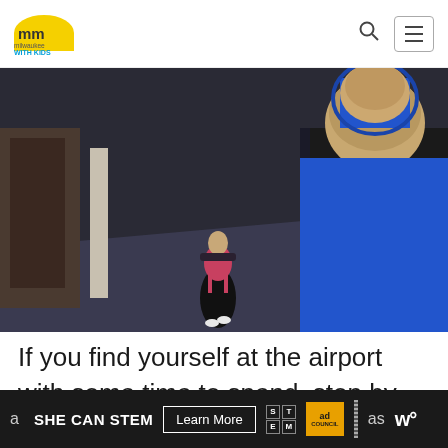milwaukee WITH KIDS
[Figure (photo): Two children seen from behind walking through a museum or gallery corridor. One smaller child wearing a red backpack and dark clothing, one taller child in a bright blue hoodie. Museum displays and cases visible in the background.]
If you find yourself at the airport with some time to spend, stop by the Mitchell Gallery of Flight, where you'll find
SHE CAN STEM  Learn More